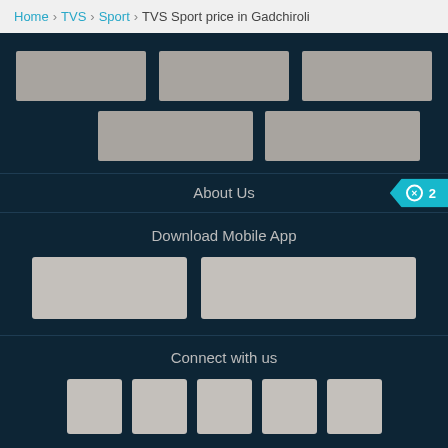Home > TVS > Sport > TVS Sport price in Gadchiroli
[Figure (screenshot): Footer section with placeholder image blocks in dark blue background (three on top row, two on second row)]
About Us
Download Mobile App
[Figure (screenshot): Two app store download button placeholders side by side]
Connect with us
[Figure (screenshot): Five social media icon placeholders in a row]
© BikeWale India.   Visitor Agreement & Privacy Policy